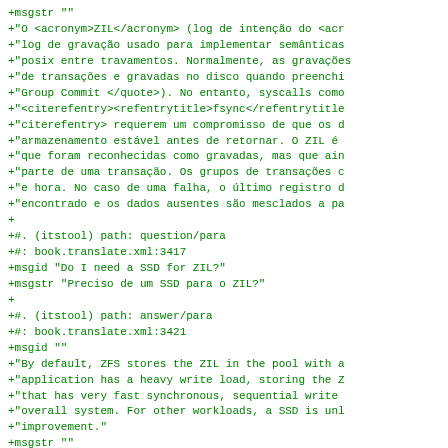+msgstr ""
+"O <acronym>ZIL</acronym> (log de intenção do <acr
+"log de gravação usado para implementar semânticas
+"posix entre travamentos. Normalmente, as gravações
+"de transações e gravadas no disco quando preenchi
+"Group Commit </quote>). No entanto, syscalls como
+"<citerefentry><refentrytitle>fsync</refentrytitle
+"citerefentry> requerem um compromisso de que os d
+"armazenamento estável antes de retornar. O ZIL é
+"que foram reconhecidas como gravadas, mas que ain
+"parte de uma transação. Os grupos de transações c
+"e hora. No caso de uma falha, o último registro d
+"encontrado e os dados ausentes são mesclados a pa
+
+#. (itstool) path: question/para
+#: book.translate.xml:3417
+msgid "Do I need a SSD for ZIL?"
+msgstr "Preciso de um SSD para o ZIL?"
+
+#. (itstool) path: answer/para
+#: book.translate.xml:3421
+msgid ""
+"By default, ZFS stores the ZIL in the pool with a
+"application has a heavy write load, storing the Z
+"that has very fast synchronous, sequential write
+"overall system. For other workloads, a SSD is unl
+"improvement."
+msgstr ""
+"Por padrão, o ZFS armazena o ZIL no pool com todo
+"aplicativo tiver uma carga de gravação pesada, o